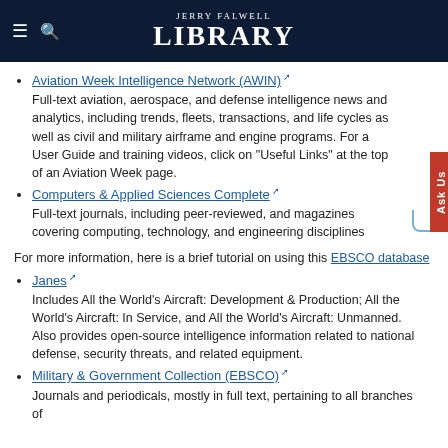JERRY FALWELL LIBRARY
Aviation Week Intelligence Network (AWIN)
Full-text aviation, aerospace, and defense intelligence news and analytics, including trends, fleets, transactions, and life cycles as well as civil and military airframe and engine programs. For a User Guide and training videos, click on "Useful Links" at the top of an Aviation Week page.
Computers & Applied Sciences Complete
Full-text journals, including peer-reviewed, and magazines covering computing, technology, and engineering disciplines
For more information, here is a brief tutorial on using this EBSCO database
Janes
Includes All the World's Aircraft: Development & Production; All the World's Aircraft: In Service, and All the World's Aircraft: Unmanned. Also provides open-source intelligence information related to national defense, security threats, and related equipment.
Military & Government Collection (EBSCO)
Journals and periodicals, mostly in full text, pertaining to all branches of